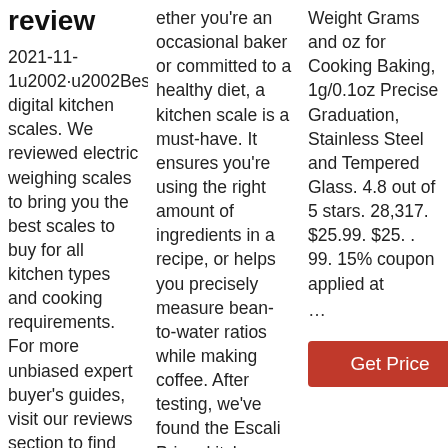review
2021-11-1u2002·u2002Best digital kitchen scales. We reviewed electric weighing scales to bring you the best scales to buy for all kitchen types and cooking requirements. For more unbiased expert buyer's guides, visit our reviews section to find 300+ round-ups of everything from chopping boards to
ether you're an occasional baker or committed to a healthy diet, a kitchen scale is a must-have. It ensures you're using the right amount of ingredients in a recipe, or helps you precisely measure bean-to-water ratios while making coffee. After testing, we've found the Escali Primo kitchen scale (available at
Weight Grams and oz for Cooking Baking, 1g/0.1oz Precise Graduation, Stainless Steel and Tempered Glass. 4.8 out of 5 stars. 28,317. $25.99. $25. . 99. 15% coupon applied at
…
Get Price